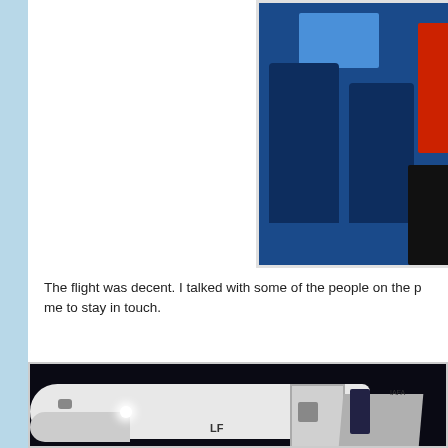[Figure (photo): Photo of airplane interior seats with blue upholstery and a red flag/object visible on the right side]
The flight was decent. I talked with some of the people on the p... me to stay in touch.
[Figure (photo): Nighttime photo of a white commercial airplane on the tarmac with open door and boarding stairs, a uniformed person visible in the doorway. Text 'LF' visible on the fuselage and 'IAFA' near the door.]